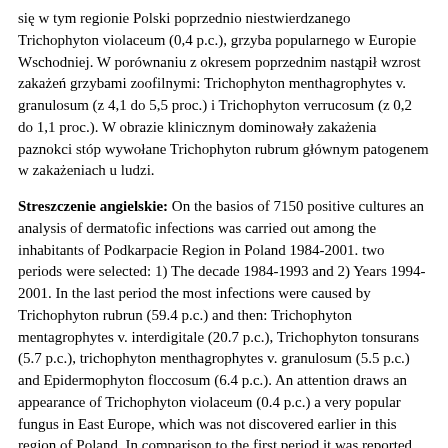się w tym regionie Polski poprzednio niestwierdzanego Trichophyton violaceum (0,4 p.c.), grzyba popularnego w Europie Wschodniej. W porównaniu z okresem poprzednim nastąpił wzrost zakażeń grzybami zoofilnymi: Trichophyton menthagrophytes v. granulosum (z 4,1 do 5,5 proc.) i Trichophyton verrucosum (z 0,2 do 1,1 proc.). W obrazie klinicznym dominowały zakażenia paznokci stóp wywołane Trichophyton rubrum głównym patogenem w zakażeniach u ludzi.
Streszczenie angielskie: On the basios of 7150 positive cultures an analysis of dermatofic infections was carried out among the inhabitants of Podkarpacie Region in Poland 1984-2001. two periods were selected: 1) The decade 1984-1993 and 2) Years 1994-2001. In the last period the most infections were caused by Trichophyton rubrun (59.4 p.c.) and then: Trichophyton mentagrophytes v. interdigitale (20.7 p.c.), Trichophyton tonsurans (5.7 p.c.), trichophyton menthagrophytes v. granulosum (5.5 p.c.) and Epidermophyton floccosum (6.4 p.c.). An attention draws an appearance of Trichophyton violaceum (0.4 p.c.) a very popular fungus in East Europe, which was not discovered earlier in this region of Poland. In comparison to the first period it was reported that infectious of zoofilic dermatofic have/grown: Trichophyton menthagrophytes v. granulosum (from 4.1 to 5.5 pc.) and Trichophyton verrucosum (from 0.2 to 1.1 p.c.). In the clinic picture observation dominated the infections of feet nails caused